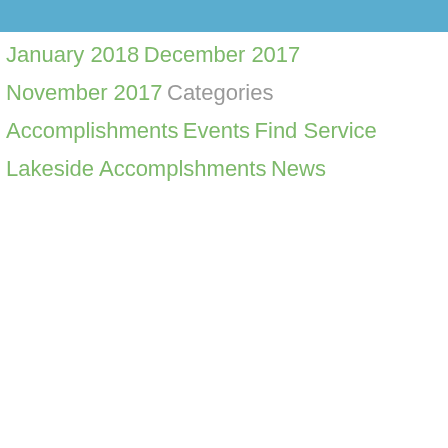January 2018
December 2017
November 2017
Categories
Accomplishments
Events
Find Service
Lakeside Accomplshments
News